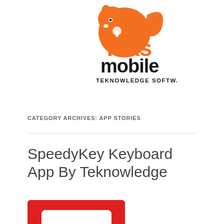[Figure (logo): TeksMobile Teknowledge Software logo: orange acorn-shaped character above bold text 'Teks mobile' and subtitle 'TEKNOWLEDGE SOFTWARE']
CATEGORY ARCHIVES: APP STORIES
SpeedyKey Keyboard App By Teknowledge
[Figure (screenshot): Red background app icon/screenshot with white keyboard shape at bottom, partially cropped]